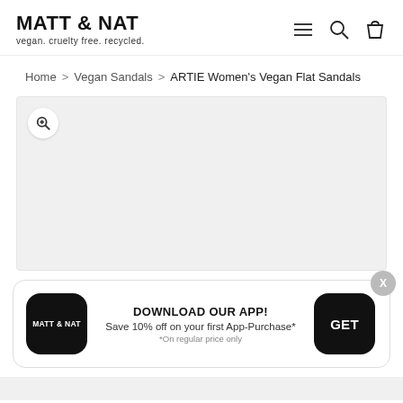MATT & NAT — vegan. cruelty free. recycled.
Home > Vegan Sandals > ARTIE Women's Vegan Flat Sandals
[Figure (photo): Product image placeholder area with a magnifying glass zoom icon in the top-left corner, light gray background]
[Figure (infographic): App download promotional banner: Matt & Nat app icon on left, center text 'DOWNLOAD OUR APP! Save 10% off on your first App-Purchase* *On regular price only', GET button on right, X close button top-right]